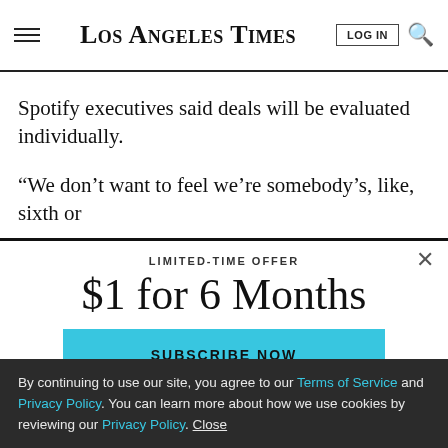Los Angeles Times
Spotify executives said deals will be evaluated individually.
“We don’t want to feel we’re somebody’s, like, sixth or
LIMITED-TIME OFFER
$1 for 6 Months
SUBSCRIBE NOW
By continuing to use our site, you agree to our Terms of Service and Privacy Policy. You can learn more about how we use cookies by reviewing our Privacy Policy. Close